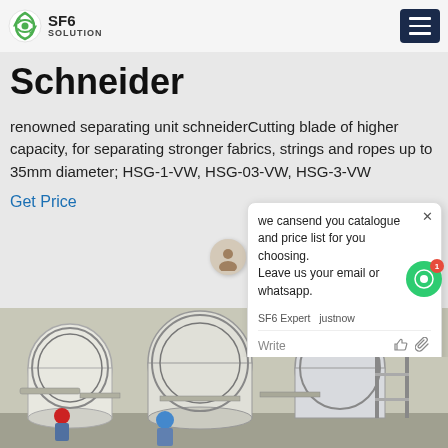SF6 SOLUTION
Schneider
renowned separating unit schneiderCutting blade of higher capacity, for separating stronger fabrics, strings and ropes up to 35mm diameter; HSG-1-VW, HSG-03-VW, HSG-3-VW
Get Price
we cansend you catalogue and price list for you choosing. Leave us your email or whatsapp.
SF6 Expert   justnow
Write
[Figure (photo): Industrial electrical equipment room with large white cylindrical SF6 gas insulated switchgear units and workers in hard hats]